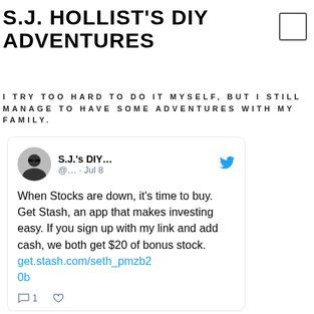S.J. HOLLIST'S DIY ADVENTURES
I TRY TOO HARD TO DO IT MYSELF, BUT I STILL MANAGE TO HAVE SOME ADVENTURES WITH MY FAMILY.
[Figure (screenshot): Embedded tweet from S.J.'s DIY... account (@...) dated Jul 8, with avatar, Twitter bird icon, tweet text about Stash investing app, link get.stash.com/seth_pmzb20b, and footer showing 1 reply and heart icon.]